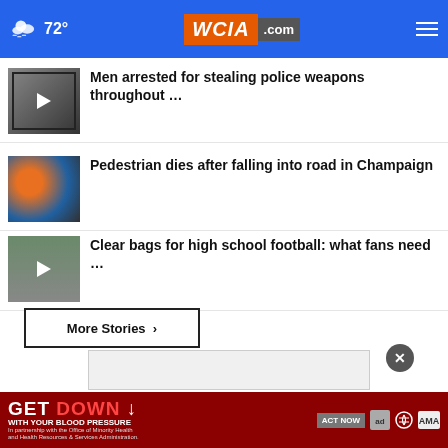72° WCIA.com
Men arrested for stealing police weapons throughout …
Pedestrian dies after falling into road in Champaign
Clear bags for high school football: what fans need …
More Stories ›
[Figure (screenshot): Advertisement overlay box]
[Figure (screenshot): GET DOWN WITH YOUR BLOOD PRESSURE ad banner — ACT NOW]